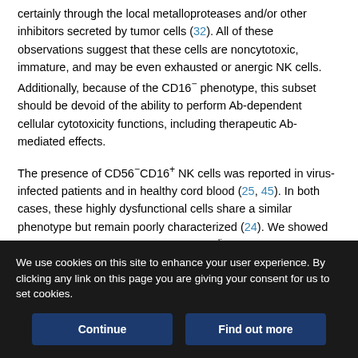certainly through the local metalloproteases and/or other inhibitors secreted by tumor cells (32). All of these observations suggest that these cells are noncytotoxic, immature, and may be even exhausted or anergic NK cells. Additionally, because of the CD16⁻ phenotype, this subset should be devoid of the ability to perform Ab-dependent cellular cytotoxicity functions, including therapeutic Ab-mediated effects.
The presence of CD56⁻CD16⁺ NK cells was reported in virus-infected patients and in healthy cord blood (25, 45). In both cases, these highly dysfunctional cells share a similar phenotype but remain poorly characterized (24). We showed that this subset was close to the CD56dimCD16⁻ subset and NK cells isolated from
We use cookies on this site to enhance your user experience. By clicking any link on this page you are giving your consent for us to set cookies.